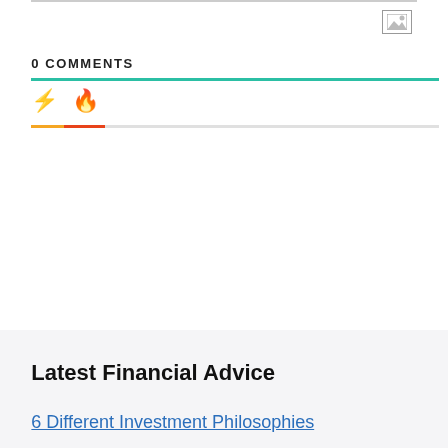[Figure (other): Image placeholder icon in top right corner]
0 COMMENTS
Lightning bolt icon and flame icon (comment sorting controls)
Latest Financial Advice
6 Different Investment Philosophies